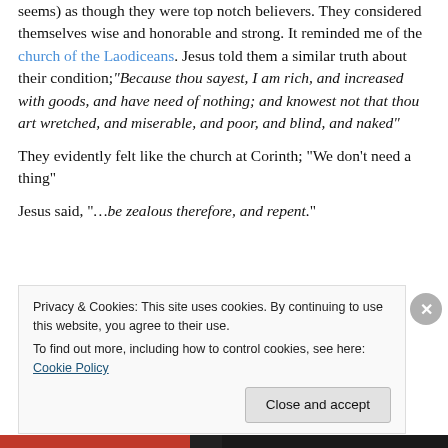seems) as though they were top notch believers. They considered themselves wise and honorable and strong. It reminded me of the church of the Laodiceans. Jesus told them a similar truth about their condition;"Because thou sayest, I am rich, and increased with goods, and have need of nothing; and knowest not that thou art wretched, and miserable, and poor, and blind, and naked"
They evidently felt like the church at Corinth; "We don't need a thing"
Jesus said, "…be zealous therefore, and repent."
Privacy & Cookies: This site uses cookies. By continuing to use this website, you agree to their use. To find out more, including how to control cookies, see here: Cookie Policy